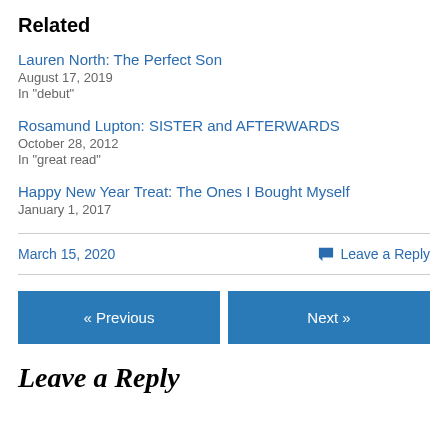Related
Lauren North: The Perfect Son
August 17, 2019
In "debut"
Rosamund Lupton: SISTER and AFTERWARDS
October 28, 2012
In "great read"
Happy New Year Treat: The Ones I Bought Myself
January 1, 2017
March 15, 2020    Leave a Reply
« Previous    Next »
Leave a Reply